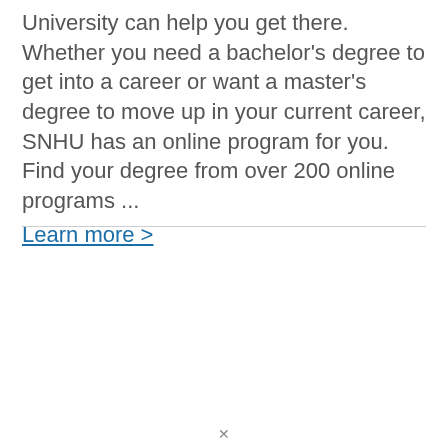University can help you get there. Whether you need a bachelor's degree to get into a career or want a master's degree to move up in your current career, SNHU has an online program for you. Find your degree from over 200 online programs ... Learn more >